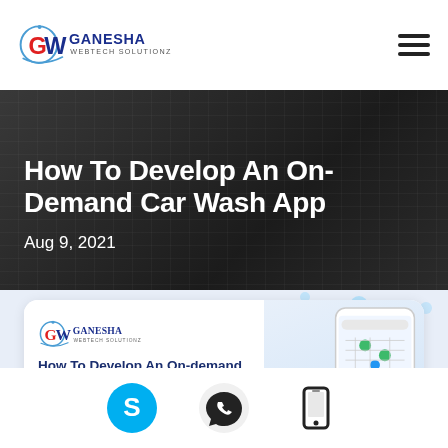Ganesha Webtech Solutionz
How To Develop An On-Demand Car Wash App
Aug 9, 2021
[Figure (infographic): Infographic card showing 'How To Develop An On-demand Car Wash App' with Ganesha Webtech Solutionz logo, car wash illustration, and mobile app screenshot showing map and nearest car washes.]
[Figure (infographic): Social contact icons row: Skype, WhatsApp, and mobile phone icons on white background.]